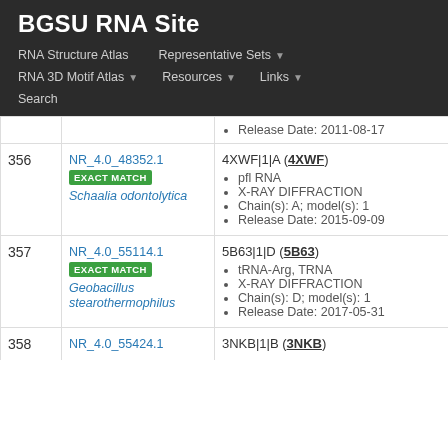BGSU RNA Site
RNA Structure Atlas | Representative Sets | RNA 3D Motif Atlas | Resources | Links | Search
| # | ID / Match / Species | PDB Entry Details |
| --- | --- | --- |
|  |  | Release Date: 2011-08-17 |
| 356 | NR_4.0_48352.1 EXACT MATCH Schaalia odontolytica | 4XWF|1|A (4XWF)
• pfl RNA
• X-RAY DIFFRACTION
• Chain(s): A; model(s): 1
• Release Date: 2015-09-09 |
| 357 | NR_4.0_55114.1 EXACT MATCH Geobacillus stearothermophilus | 5B63|1|D (5B63)
• tRNA-Arg, TRNA
• X-RAY DIFFRACTION
• Chain(s): D; model(s): 1
• Release Date: 2017-05-31 |
| 358 | NR_4.0_55424.1 | 3NKB|1|B (3NKB) |